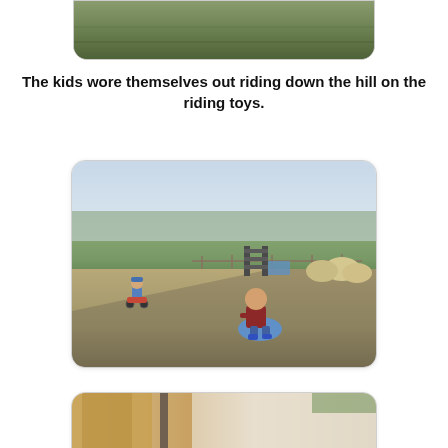[Figure (photo): Partial photo of grassy hillside, cropped at top of page]
The kids wore themselves out riding down the hill on the riding toys.
[Figure (photo): Two children playing outdoors in a field; one rides a small riding toy, the other sits on a blue riding toy on dry grass with farm equipment and hay bales in the background]
[Figure (photo): Partial photo at bottom of page, partially cropped, showing what appears to be animals or farm scene]